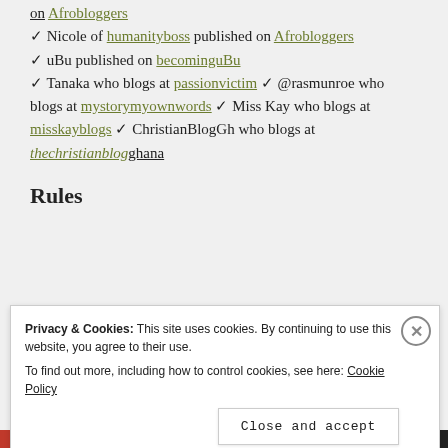on Afrobloggers ✓ Nicole of humanityboss published on Afrobloggers ✓ uBu published on becominguBu ✓ Tanaka who blogs at passionvictim ✓ @rasmunroe who blogs at mystorymyownwords ✓ Miss Kay who blogs at misskayblogs ✓ ChristianBlogGh who blogs at thechristianblogghana
Rules
Privacy & Cookies: This site uses cookies. By continuing to use this website, you agree to their use. To find out more, including how to control cookies, see here: Cookie Policy